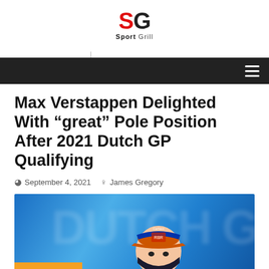SG Sport Grill
Max Verstappen Delighted With “great” Pole Position After 2021 Dutch GP Qualifying
September 4, 2021  James Gregory
[Figure (photo): Max Verstappen wearing a Red Bull cap and face mask at the 2021 Dutch GP, with blurred blue DUTCH GP background signage]